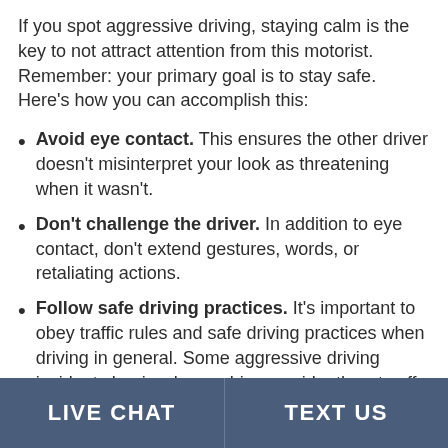If you spot aggressive driving, staying calm is the key to not attract attention from this motorist. Remember: your primary goal is to stay safe. Here’s how you can accomplish this:
Avoid eye contact. This ensures the other driver doesn’t misinterpret your look as threatening when it wasn’t.
Don’t challenge the driver. In addition to eye contact, don’t extend gestures, words, or retaliating actions.
Follow safe driving practices. It’s important to obey traffic rules and safe driving practices when driving in general. Some aggressive driving incidents begin when a driver accidently cuts off another driver, fails to use
LIVE CHAT   TEXT US